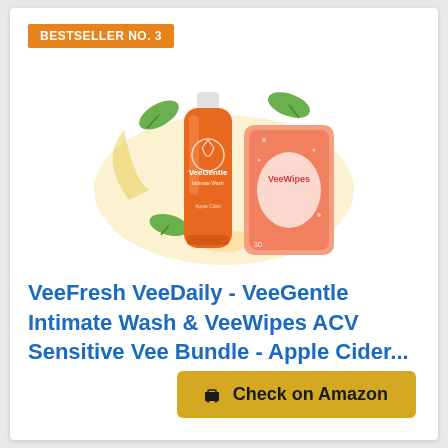BESTSELLER NO. 3
[Figure (photo): Product photo of VeeGentle Intimate Wash bottle (orange label) and VeeWipes ACV pink package with apple and green leaves decoration]
VeeFresh VeeDaily - VeeGentle Intimate Wash & VeeWipes ACV Sensitive Vee Bundle - Apple Cider...
Prime
Check on Amazon